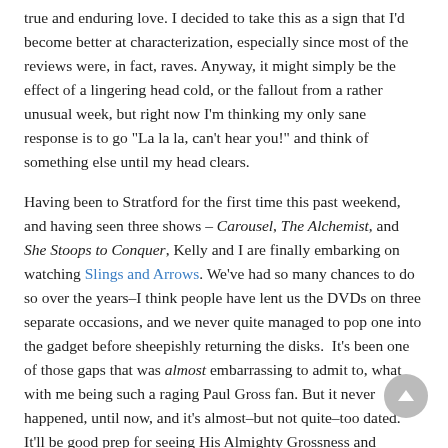true and enduring love. I decided to take this as a sign that I'd become better at characterization, especially since most of the reviews were, in fact, raves. Anyway, it might simply be the effect of a lingering head cold, or the fallout from a rather unusual week, but right now I'm thinking my only sane response is to go "La la la, can't hear you!" and think of something else until my head clears.
Having been to Stratford for the first time this past weekend, and having seen three shows – Carousel, The Alchemist, and She Stoops to Conquer, Kelly and I are finally embarking on watching Slings and Arrows. We've had so many chances to do so over the years–I think people have lent us the DVDs on three separate occasions, and we never quite managed to pop one into the gadget before sheepishly returning the disks.  It's been one of those gaps that was almost embarrassing to admit to, what with me being such a raging Paul Gross fan. But it never happened, until now, and it's almost–but not quite–too dated. It'll be good prep for seeing His Almighty Grossness and Martha Burns in Domesticated next month.
Tagged  #Child-of-a-Hidden-Sea ▾ , #daughter-of-no-nation ▾ , #paulgross ▾ , #telewitterings ▾